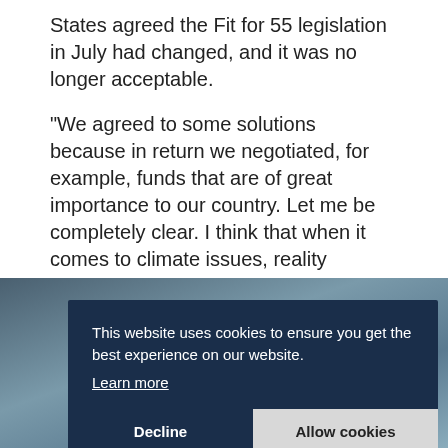States agreed the Fit for 55 legislation in July had changed, and it was no longer acceptable.
"We agreed to some solutions because in return we negotiated, for example, funds that are of great importance to our country. Let me be completely clear. I think that when it comes to climate issues, reality quickly repudiates different theses," Kaczyński said in an interview, quoted by S&P Global, with the pro-government weekly, Gazeta Polska, published on Wednesday.
[Figure (photo): Partially visible photo with dark blue cookie consent banner overlay]
This website uses cookies to ensure you get the best experience on our website.
Learn more
Decline
Allow cookies